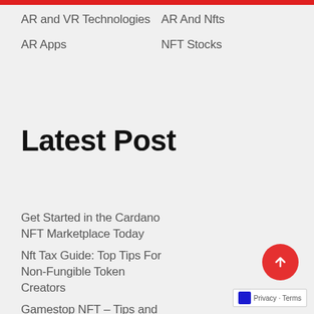AR and VR Technologies
AR And Nfts
AR Apps
NFT Stocks
Latest Post
Get Started in the Cardano NFT Marketplace Today
Nft Tax Guide: Top Tips For Non-Fungible Token Creators
Gamestop NFT – Tips and Tricks of Your NFT